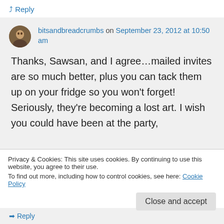↳ Reply
bitsandbreadcrumbs on September 23, 2012 at 10:50 am
Thanks, Sawsan, and I agree…mailed invites are so much better, plus you can tack them up on your fridge so you won't forget! Seriously, they're becoming a lost art. I wish you could have been at the party,
Privacy & Cookies: This site uses cookies. By continuing to use this website, you agree to their use.
To find out more, including how to control cookies, see here: Cookie Policy
Close and accept
→ Reply